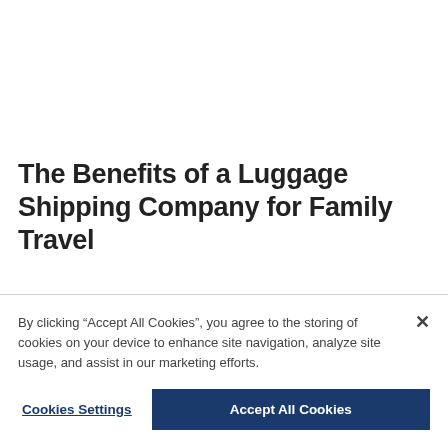The Benefits of a Luggage Shipping Company for Family Travel
Traveling with young children is hard enough without having to worry about the luggage required for each member of the family. By using a luggage shipping company like Luggage Free, you can focus on what’s really important: the safety and
By clicking “Accept All Cookies”, you agree to the storing of cookies on your device to enhance site navigation, analyze site usage, and assist in our marketing efforts.
Cookies Settings
Accept All Cookies